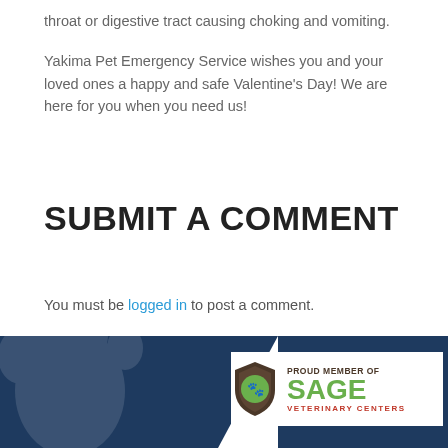throat or digestive tract causing choking and vomiting.
Yakima Pet Emergency Service wishes you and your loved ones a happy and safe Valentine's Day! We are here for you when you need us!
SUBMIT A COMMENT
You must be logged in to post a comment.
[Figure (logo): SAGE Veterinary Centers logo with shield icon and 'Proud Member Of' text, set against a dark navy footer background]